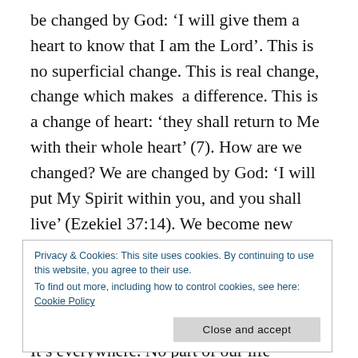be changed by God: 'I will give them a heart to know that I am the Lord'. This is no superficial change. This is real change, change which makes a difference. This is a change of heart: 'they shall return to Me with their whole heart' (7). How are we changed? We are changed by God: 'I will put My Spirit within you, and you shall live' (Ezekiel 37:14). We become new people – 'alive to God in Christ Jesus' (Romans 6:11). This is the great change, the change that makes all the difference. It's not just a little change here and there. It's everywhere. No part of our life remains the same. Every part of life is
Privacy & Cookies: This site uses cookies. By continuing to use this website, you agree to their use.
To find out more, including how to control cookies, see here: Cookie Policy
(Mission Praise, 69).